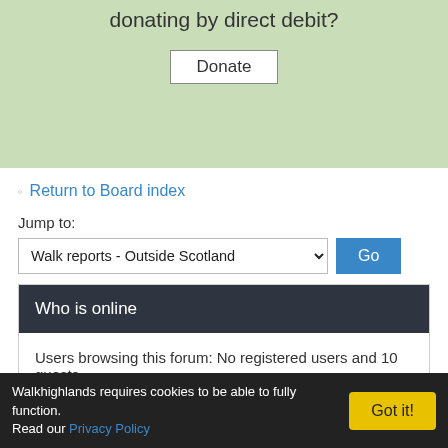[Figure (other): Green donation banner with text 'donating by direct debit?' and a Donate button]
Return to Board index
Jump to:
Walk reports - Outside Scotland
Who is online
Users browsing this forum: No registered users and 10 guests
Forum permissions
You cannot post new topics in this forum
You cannot reply to topics in this forum
You cannot edit your posts in this forum
Walkhighlands requires cookies to be able to fully function. Read our Privacy Policy  Got it!